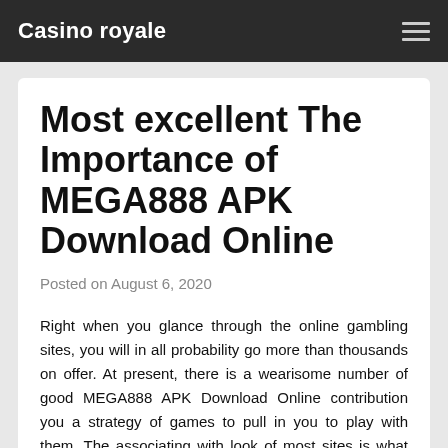Casino royale
Most excellent The Importance of MEGA888 APK Download Online
Posted on August 6, 2020
Right when you glance through the online gambling sites, you will in all probability go more than thousands on offer. At present, there is a wearisome number of good MEGA888 APK Download Online contribution you a strategy of games to pull in you to play with them. The associating with look of most sites is what charms more player's regardless do you know there are independent person gambling club